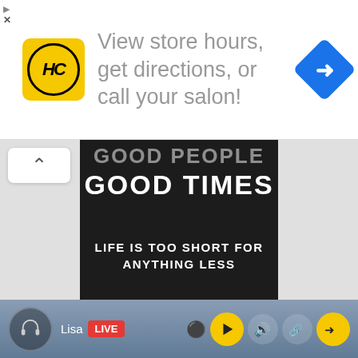[Figure (screenshot): Advertisement banner with HC logo (yellow circle with HC letters), text 'View store hours, get directions, or call your salon!' and a blue navigation diamond icon on the right. Small play and X icons on the top left corner.]
[Figure (photo): Dark/black background motivational poster showing text 'GOOD PEOPLE' (partially cut off at top), 'GOOD TIMES', and 'LIFE IS TOO SHORT FOR ANYTHING LESS' in white bold uppercase letters.]
[Figure (screenshot): Media player toolbar at the bottom with a headphone icon, 'Lisa' text, LIVE red badge, and playback control icons (record, play, volume, share, exit) in yellow and gray on a blue-gray gradient background.]